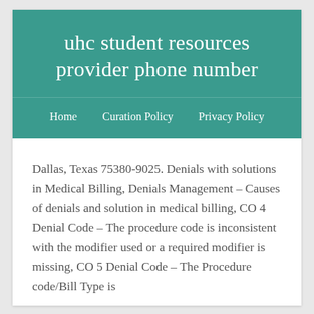uhc student resources provider phone number
Home   Curation Policy   Privacy Policy
Dallas, Texas 75380-9025. Denials with solutions in Medical Billing, Denials Management – Causes of denials and solution in medical billing, CO 4 Denial Code – The procedure code is inconsistent with the modifier used or a required modifier is missing, CO 5 Denial Code – The Procedure code/Bill Type is